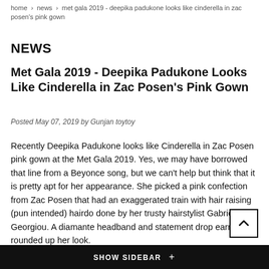home > news > met gala 2019 - deepika padukone looks like cinderella in zac posen's pink gown
NEWS
Met Gala 2019 - Deepika Padukone Looks Like Cinderella in Zac Posen's Pink Gown
Posted May 07, 2019 by Gunjan toytoy
Recently Deepika Padukone looks like Cinderella in Zac Posen pink gown at the Met Gala 2019. Yes, we may have borrowed that line from a Beyonce song, but we can't help but think that it is pretty apt for her appearance. She picked a pink confection from Zac Posen that had an exaggerated train with hair raising (pun intended) hairdo done by her trusty hairstylist Gabriel Georgiou. A diamante headband and statement drop earrings rounded up her look.
SHOW SIDEBAR +